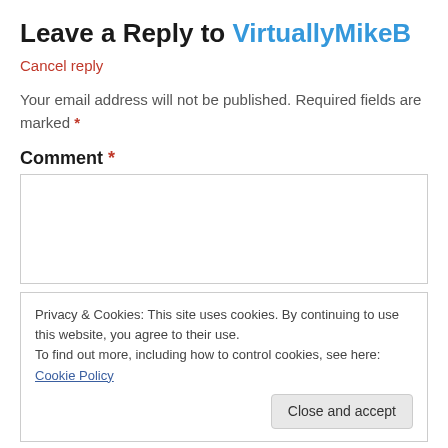Leave a Reply to VirtuallyMikeB
Cancel reply
Your email address will not be published. Required fields are marked *
Comment *
Privacy & Cookies: This site uses cookies. By continuing to use this website, you agree to their use.
To find out more, including how to control cookies, see here: Cookie Policy
Close and accept